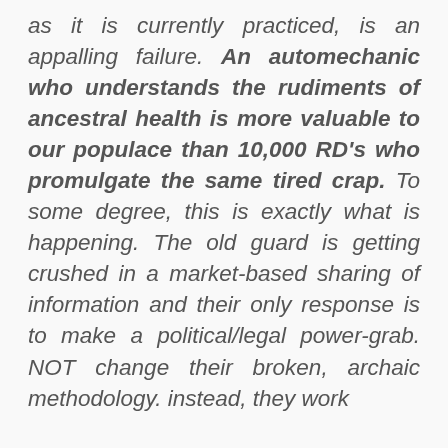as it is currently practiced, is an appalling failure. An automechanic who understands the rudiments of ancestral health is more valuable to our populace than 10,000 RD's who promulgate the same tired crap. To some degree, this is exactly what is happening. The old guard is getting crushed in a market-based sharing of information and their only response is to make a political/legal power-grab. NOT change their broken, archaic methodology. instead, they work